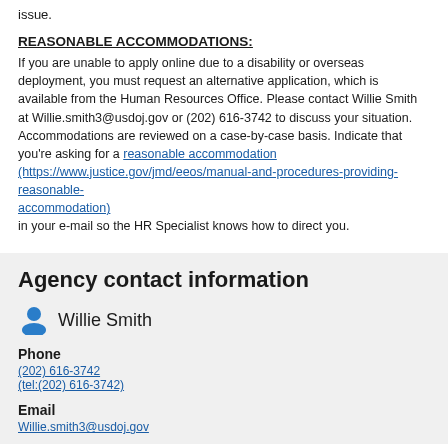issue.
REASONABLE ACCOMMODATIONS:
If you are unable to apply online due to a disability or overseas deployment, you must request an alternative application, which is available from the Human Resources Office. Please contact Willie Smith at Willie.smith3@usdoj.gov or (202) 616-3742 to discuss your situation. Accommodations are reviewed on a case-by-case basis. Indicate that you're asking for a reasonable accommodation (https://www.justice.gov/jmd/eeos/manual-and-procedures-providing-reasonable-accommodation) in your e-mail so the HR Specialist knows how to direct you.
Agency contact information
Willie Smith
Phone
(202) 616-3742
(tel:(202) 616-3742)
Email
Willie.smith3@usdoj.gov